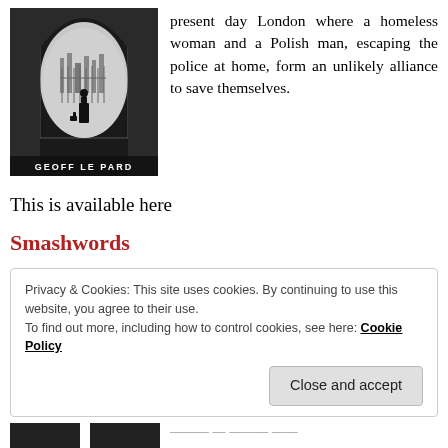[Figure (illustration): Book cover for a novel by Geoff Le Pard, black and white image of a figure standing in an archway/tunnel with city visible behind, with author name 'GEOFF LE PARD' at the bottom]
present day London where a homeless woman and a Polish man, escaping the police at home, form an unlikely alliance to save themselves.
This is available here
Smashwords
Privacy & Cookies: This site uses cookies. By continuing to use this website, you agree to their use.
To find out more, including how to control cookies, see here: Cookie Policy
Close and accept